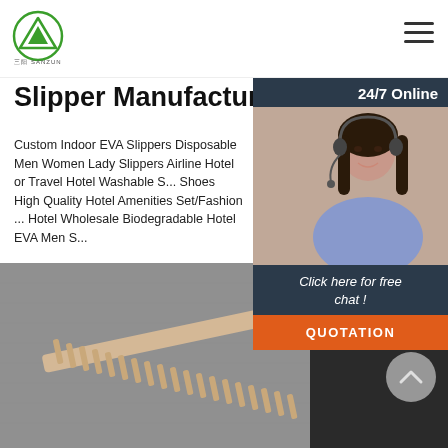[Figure (logo): Green triangular mountain logo with Chinese text 'SANZUN' below]
Slipper Manufacturers ...
Custom Indoor EVA Slippers Disposable Men Women Lady Slippers Airline Hotel or Travel Hotel Washable S... Shoes High Quality Hotel Amenities Set/Fashion... Hotel Wholesale Biodegradable Hotel EVA Men S...
[Figure (other): Green 'Get Price' button]
[Figure (photo): Photo of a wooden comb on gray fabric background]
[Figure (infographic): 24/7 Online chat widget with customer service representative photo, 'Click here for free chat!' text, and orange QUOTATION button]